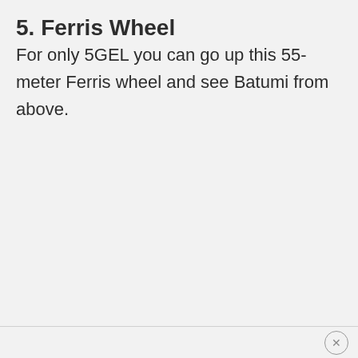5. Ferris Wheel
For only 5GEL you can go up this 55-meter Ferris wheel and see Batumi from above.
×